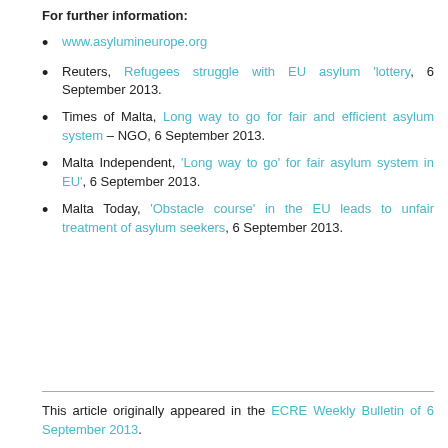For further information:
www.asylumineurope.org
Reuters, Refugees struggle with EU asylum 'lottery, 6 September 2013.
Times of Malta, Long way to go for fair and efficient asylum system – NGO, 6 September 2013.
Malta Independent, 'Long way to go' for fair asylum system in EU', 6 September 2013.
Malta Today, 'Obstacle course' in the EU leads to unfair treatment of asylum seekers, 6 September 2013.
This article originally appeared in the ECRE Weekly Bulletin of 6 September 2013.